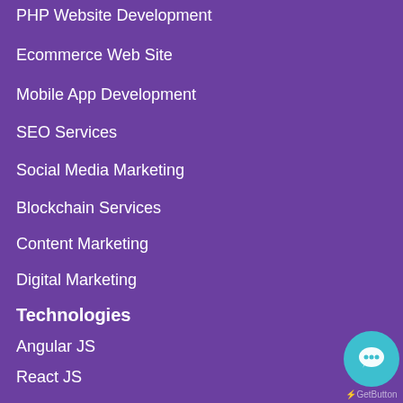PHP Website Development
Ecommerce Web Site
Mobile App Development
SEO Services
Social Media Marketing
Blockchain Services
Content Marketing
Digital Marketing
Technologies
Angular JS
React JS
Node JS
.Net
Android
iOS
[Figure (logo): GetButton live chat widget button — a teal circle with a speech bubble icon, labeled 'GetButton' below]